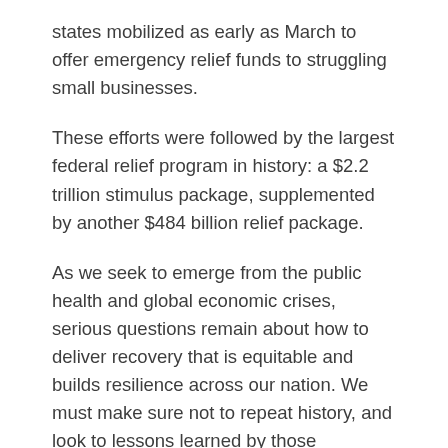states mobilized as early as March to offer emergency relief funds to struggling small businesses.
These efforts were followed by the largest federal relief program in history: a $2.2 trillion stimulus package, supplemented by another $484 billion relief package.
As we seek to emerge from the public health and global economic crises, serious questions remain about how to deliver recovery that is equitable and builds resilience across our nation. We must make sure not to repeat history, and look to lessons learned by those vulnerable communities that have still not fully recovered from the aftermath of the Great Recession. One way to do this is by looking at OZs. Many of these communities that haven't experienced recovery in the last ten years are in the same ZIP codes designated as opportunity